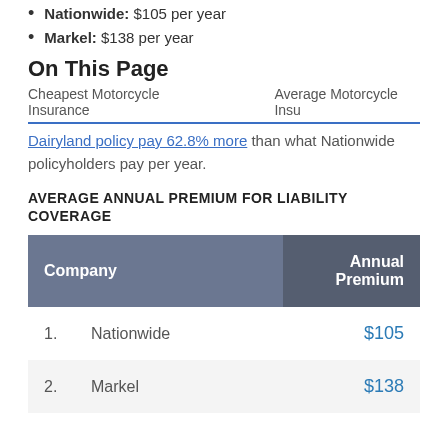Nationwide: $105 per year
Markel: $138 per year
On This Page
Cheapest Motorcycle Insurance    Average Motorcycle Insu...
Dairyland policy pay 62.8% more than what Nationwide policyholders pay per year.
AVERAGE ANNUAL PREMIUM FOR LIABILITY COVERAGE
| Company | Annual Premium |
| --- | --- |
| 1. | Nationwide | $105 |
| 2. | Markel | $138 |